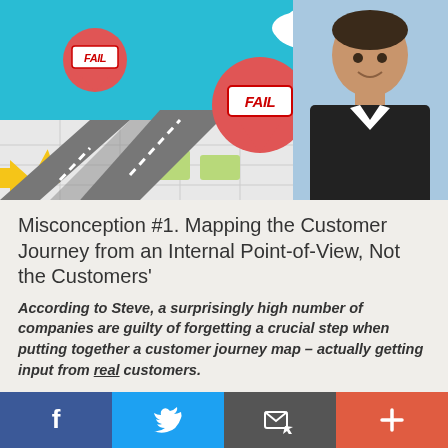[Figure (illustration): Hero banner image showing a illustrated road map with two red location pins labeled FAIL, a speech bubble with TandemSeven text, and a man's photo on the right side, set against a blue sky background.]
Misconception #1. Mapping the Customer Journey from an Internal Point-of-View, Not the Customers'
According to Steve, a surprisingly high number of companies are guilty of forgetting a crucial step when putting together a customer journey map – actually getting input from real customers.
STEVE OFFSEY: One of the biggest ones that we always
[Figure (infographic): Bottom navigation bar with Facebook, Twitter, email/share, and plus icons in blue, light blue, gray, and orange-red colors respectively.]